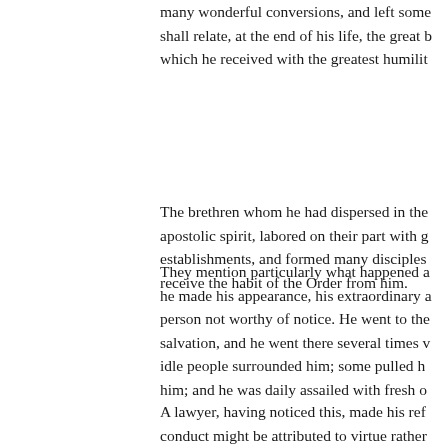many wonderful conversions, and left some shall relate, at the end of his life, the great b which he received with the greatest humilit
The brethren whom he had dispersed in the apostolic spirit, labored on their part with g establishments, and formed many disciples receive the habit of the Order from him.
They mention particularly what happened a he made his appearance, his extraordinary a person not worthy of notice. He went to the salvation, and he went there several times v idle people surrounded him; some pulled h him; and he was daily assailed with fresh o
A lawyer, having noticed this, made his ref conduct might be attributed to virtue rather Bernard and asked him who he was, and w